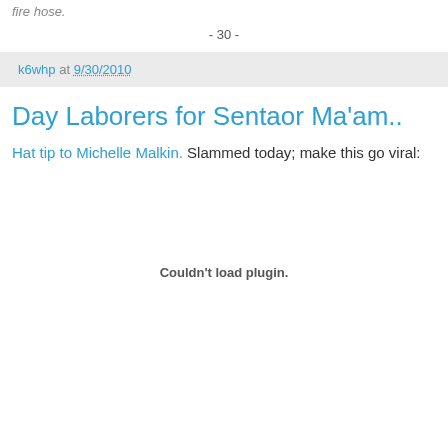fire hose.
- 30 -
k6whp at 9/30/2010
Day Laborers for Sentaor Ma'am..
Hat tip to Michelle Malkin. Slammed today; make this go viral:
Couldn't load plugin.